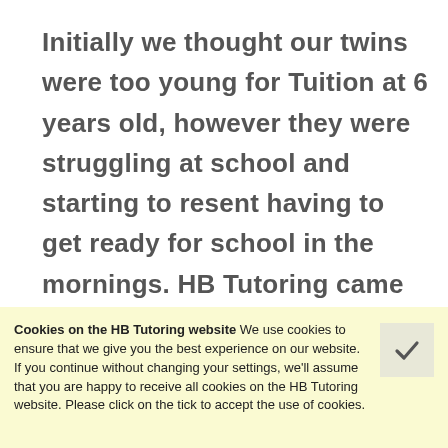Initially we thought our twins were too young for Tuition at 6 years old, however they were struggling at school and starting to resent having to get ready for school in the mornings. HB Tutoring came to help the boys and I have to say the work they have done with them is astounding. They are teaching them through lots of practical activities and using teaching resources...
Cookies on the HB Tutoring website We use cookies to ensure that we give you the best experience on our website. If you continue without changing your settings, we'll assume that you are happy to receive all cookies on the HB Tutoring website. Please click on the tick to accept the use of cookies.